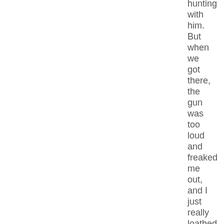hunting with him. But when we got there, the gun was too loud and freaked me out, and I just really loathed the idea of killing